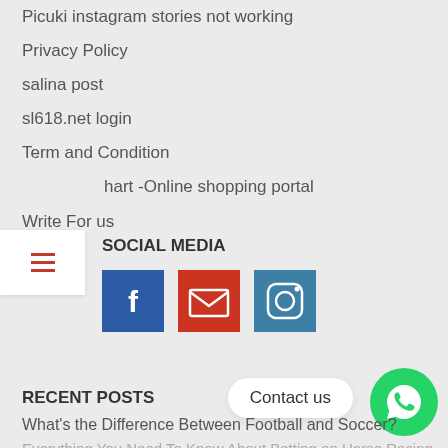Picuki instagram stories not working
Privacy Policy
salina post
sl618.net login
Term and Condition
hart -Online shopping portal
Write For us
SOCIAL MEDIA
[Figure (infographic): Social media icons: Facebook (blue), Email (red/orange), Instagram (steel blue)]
RECENT POSTS
Contact us
What's the Difference Between Football and Soccer?
Everything You Need To Know About Betting on Horse Racing